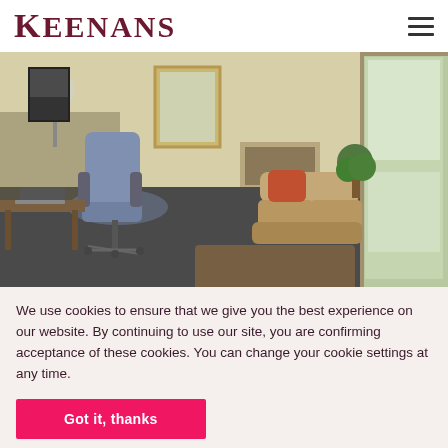KEENANS
[Figure (photo): Interior room photo showing a blue office chair at a desk on the left, a sectional sofa with orange cushion in the center-right, a mirror on the wall, a door with frosted glass on the right, and dark grey carpet throughout.]
We use cookies to ensure that we give you the best experience on our website. By continuing to use our site, you are confirming acceptance of these cookies. You can change your cookie settings at any time.
Got it, thanks